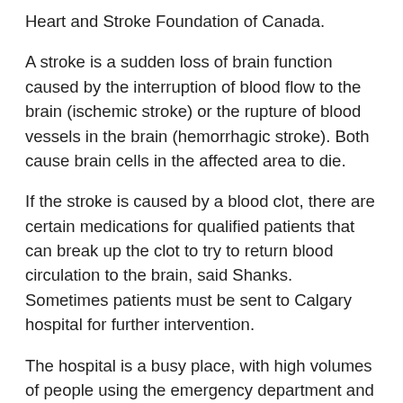Heart and Stroke Foundation of Canada.
A stroke is a sudden loss of brain function caused by the interruption of blood flow to the brain (ischemic stroke) or the rupture of blood vessels in the brain (hemorrhagic stroke). Both cause brain cells in the affected area to die.
If the stroke is caused by a blood clot, there are certain medications for qualified patients that can break up the clot to try to return blood circulation to the brain, said Shanks. Sometimes patients must be sent to Calgary hospital for further intervention.
The hospital is a busy place, with high volumes of people using the emergency department and challenges having enough beds for patients, said Shanks. By making healthy lifestyle decisions, the public can ease the burden on health system resources.
“We admitted approximately 200 patients in this past year as a result of stroke and stroke-like symptoms, and almost